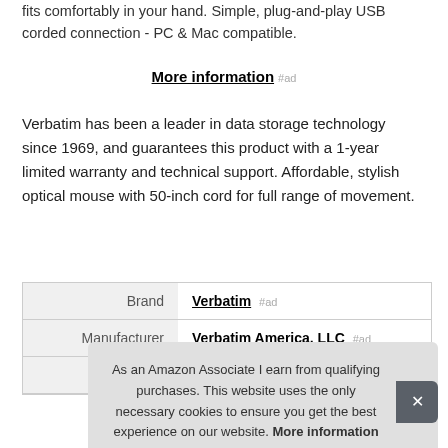fits comfortably in your hand. Simple, plug-and-play USB corded connection - PC & Mac compatible.
More information #ad
Verbatim has been a leader in data storage technology since 1969, and guarantees this product with a 1-year limited warranty and technical support. Affordable, stylish optical mouse with 50-inch cord for full range of movement.
|  |  |
| --- | --- |
| Brand | Verbatim #ad |
| Manufacturer | Verbatim America, LLC #ad |
As an Amazon Associate I earn from qualifying purchases. This website uses the only necessary cookies to ensure you get the best experience on our website. More information